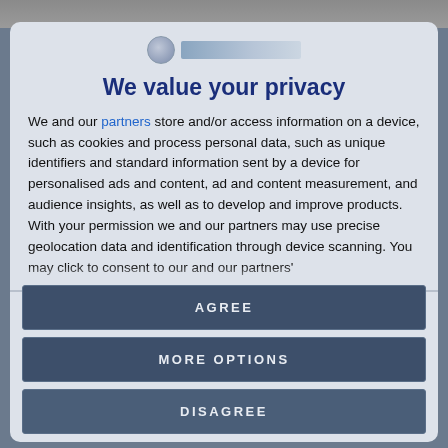[Figure (logo): Circular logo icon with text bar next to it]
We value your privacy
We and our partners store and/or access information on a device, such as cookies and process personal data, such as unique identifiers and standard information sent by a device for personalised ads and content, ad and content measurement, and audience insights, as well as to develop and improve products. With your permission we and our partners may use precise geolocation data and identification through device scanning. You may click to consent to our and our partners'
AGREE
MORE OPTIONS
DISAGREE